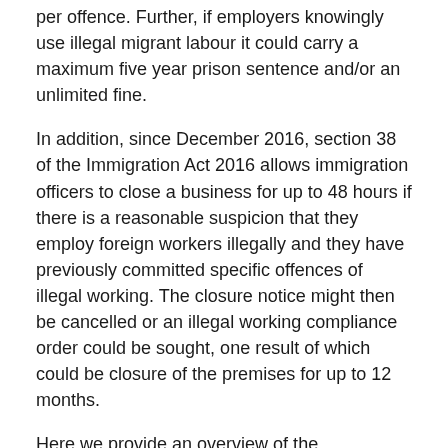per offence. Further, if employers knowingly use illegal migrant labour it could carry a maximum five year prison sentence and/or an unlimited fine.
In addition, since December 2016, section 38 of the Immigration Act 2016 allows immigration officers to close a business for up to 48 hours if there is a reasonable suspicion that they employ foreign workers illegally and they have previously committed specific offences of illegal working. The closure notice might then be cancelled or an illegal working compliance order could be sought, one result of which could be closure of the premises for up to 12 months.
Here we provide an overview of the documentation required to ensure that your business does not fall foul of the law.
The rules
The increasing trend of illegal immigrants entering the UK